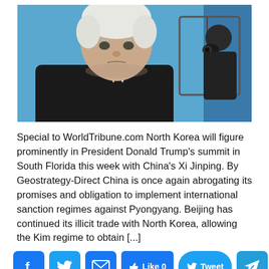[Figure (photo): A serious-looking older white-haired man in a dark suit with blue background; a photographer/cameraman reflected or visible behind a window on the right side.]
Special to WorldTribune.com North Korea will figure prominently in President Donald Trump's summit in South Florida this week with China's Xi Jinping. By Geostrategy-Direct China is once again abrogating its promises and obligation to implement international sanction regimes against Pyongyang. Beijing has continued its illicit trade with North Korea, allowing the Kim regime to obtain [...]
[Figure (infographic): Social sharing bar with Facebook, Twitter, Email, Like 0, Tweet, Telegram, and Share+ buttons]